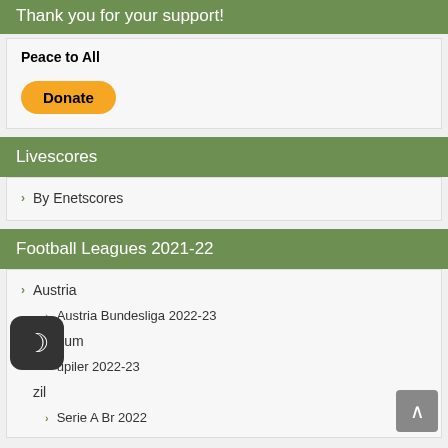Thank you for your support!
Peace to All
[Figure (other): PayPal Donate button (yellow rounded rectangle)]
Livescores
By Enetscores
Football Leagues 2021-22
Austria
Austria Bundesliga 2022-23
Belgium
upiler 2022-23
zil
Serie A Br 2022